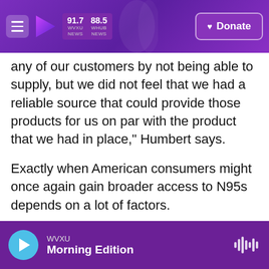WVXU 91.7 NEWS | 88.5 WHUR NEWS | Donate
any of our customers by not being able to supply, but we did not feel that we had a reliable source that could provide those products for us on par with the product that we had in place," Humbert says.
Exactly when American consumers might once again gain broader access to N95s depends on a lot of factors.
"I think if the vaccine rolls out faster, you're going to be able to get N95s faster," as the risks diminish and fewer people need N95s, says Kaitlin Wowak, a supply chain expert and assistant professor at
WVXU
Morning Edition